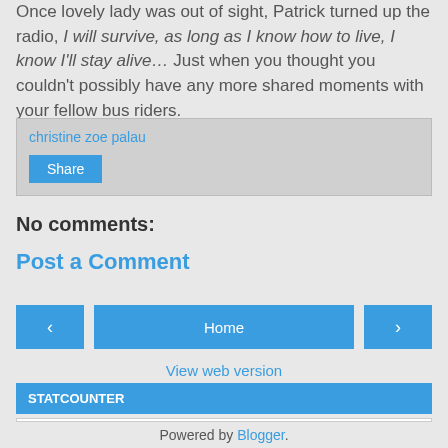Once lovely lady was out of sight, Patrick turned up the radio, I will survive, as long as I know how to live, I know I'll stay alive… Just when you thought you couldn't possibly have any more shared moments with your fellow bus riders.
christine zoe palau
Share
No comments:
Post a Comment
< Home >
View web version
STATCOUNTER
Powered by Blogger.